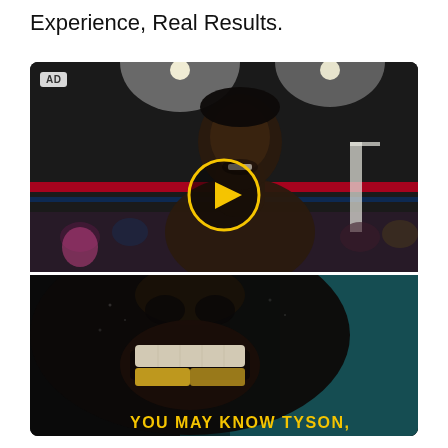Experience, Real Results.
[Figure (screenshot): An advertisement screenshot showing two panels. Top panel: a muscular Black boxer in a boxing ring under bright spotlights, smiling at the camera with a yellow circular play button overlay in the center. Blue and red boxing ring ropes visible, crowd in background. An 'AD' badge in top-left corner. Bottom panel: extreme close-up of a person's mouth showing teeth with a gold bottom tooth cap, dark glistening skin, teal/dark background. Yellow text at the bottom reads 'YOU MAY KNOW TYSON,']